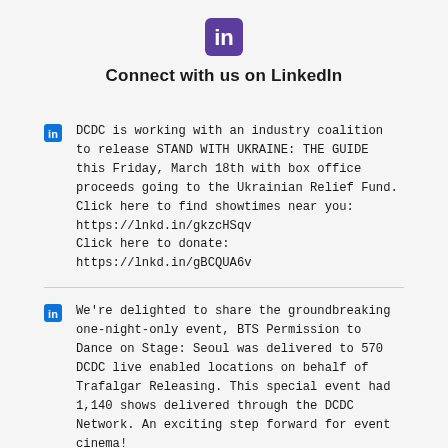[Figure (logo): LinkedIn logo: white 'in' text on purple rounded square background]
Connect with us on LinkedIn
DCDC is working with an industry coalition to release STAND WITH UKRAINE: THE GUIDE this Friday, March 18th with box office proceeds going to the Ukrainian Relief Fund. Click here to find showtimes near you: https://lnkd.in/gkzcHSqv Click here to donate: https://lnkd.in/gBCQUA6v
We're delighted to share the groundbreaking one-night-only event, BTS Permission to Dance on Stage: Seoul was delivered to 570 DCDC live enabled locations on behalf of Trafalgar Releasing. This special event had 1,140 shows delivered through the DCDC Network. An exciting step forward for event cinema!